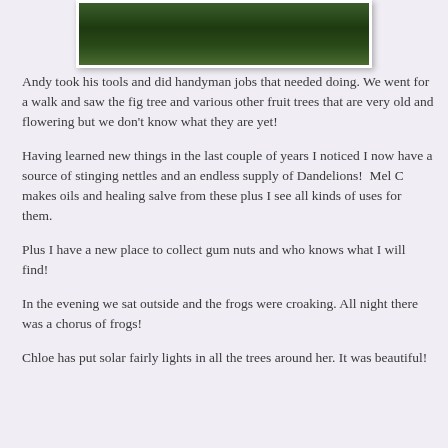[Figure (photo): Partial photograph showing dense green foliage/trees, cropped at top]
Andy took his tools and did handyman jobs that needed doing. We went for a walk and saw the fig tree and various other fruit trees that are very old and flowering but we don't know what they are yet!
Having learned new things in the last couple of years I noticed I now have a source of stinging nettles and an endless supply of Dandelions!  Mel C makes oils and healing salve from these plus I see all kinds of uses for them.
Plus I have a new place to collect gum nuts and who knows what I will find!
In the evening we sat outside and the frogs were croaking. All night there was a chorus of frogs!
Chloe has put solar fairly lights in all the trees around her. It was beautiful!